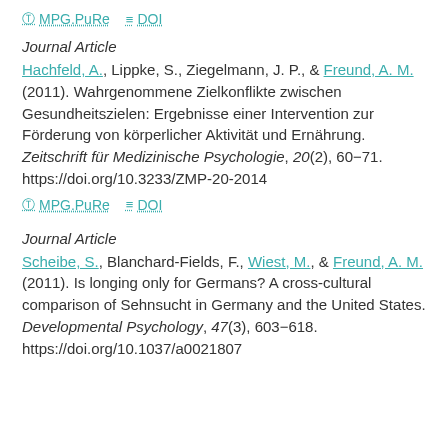⊙ MPG.PuRe  ≡ DOI
Journal Article
Hachfeld, A., Lippke, S., Ziegelmann, J. P., & Freund, A. M. (2011). Wahrgenommene Zielkonflikte zwischen Gesundheitszielen: Ergebnisse einer Intervention zur Förderung von körperlicher Aktivität und Ernährung. Zeitschrift für Medizinische Psychologie, 20(2), 60−71. https://doi.org/10.3233/ZMP-20-2014
⊙ MPG.PuRe  ≡ DOI
Journal Article
Scheibe, S., Blanchard-Fields, F., Wiest, M., & Freund, A. M. (2011). Is longing only for Germans? A cross-cultural comparison of Sehnsucht in Germany and the United States. Developmental Psychology, 47(3), 603−618. https://doi.org/10.1037/a0021807